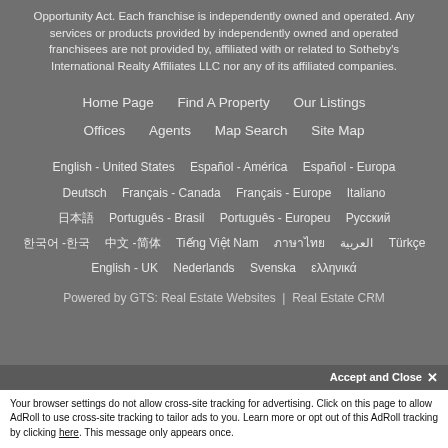Opportunity Act. Each franchise is independently owned and operated. Any services or products provided by independently owned and operated franchisees are not provided by, affiliated with or related to Sotheby's International Realty Affiliates LLC nor any of its affiliated companies.
Home Page | Find A Property | Our Listings | Offices | Agents | Map Search | Site Map
English - United States | Español - América | Español - Europa | Deutsch | Français - Canada | Français - Europe | Italiano | 日本語 | Português - Brasil | Português - Europeu | Русский | 한국어 -한국 | 中文 -简体 | Tiếng Việt Nam | ภาษาไทย | العربية | Türkçe | English - UK | Nederlands | Svenska | ελληνικά
Powered by GTS: Real Estate Websites | Real Estate CRM
Accept and Close ✕
Your browser settings do not allow cross-site tracking for advertising. Click on this page to allow AdRoll to use cross-site tracking to tailor ads to you. Learn more or opt out of this AdRoll tracking by clicking here. This message only appears once.